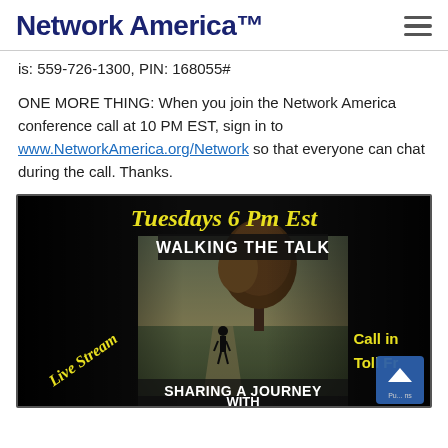Network America™
is: 559-726-1300, PIN: 168055#
ONE MORE THING: When you join the Network America conference call at 10 PM EST, sign in to www.NetworkAmerica.org/Network so that everyone can chat during the call. Thanks.
[Figure (photo): A promotional image with dark background showing 'Tuesdays 6 Pm Est' in yellow italic text at top, 'WALKING THE TALK' in bold white text, a photo of a person walking on a path toward a large tree, 'Live Stream' in yellow diagonal text on the left, 'Call in Toll Fr...' in yellow text on the right, and 'SHARING A JOURNEY WITH' in bold white text at bottom.]